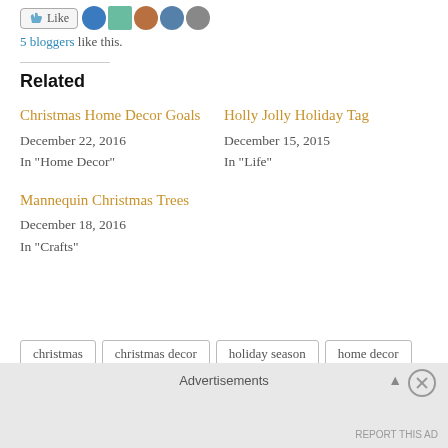5 bloggers like this.
Related
Christmas Home Decor Goals
December 22, 2016
In "Home Decor"
Holly Jolly Holiday Tag
December 15, 2015
In "Life"
Mannequin Christmas Trees
December 18, 2016
In "Crafts"
christmas
christmas decor
holiday season
home decor
Advertisements